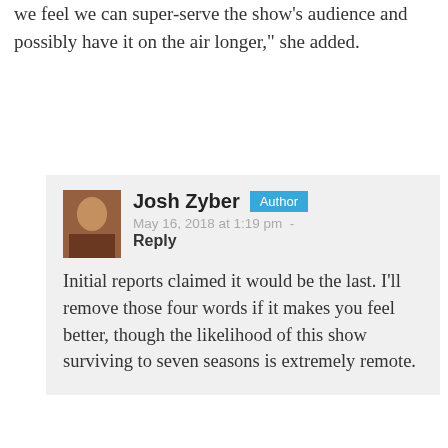we feel we can super-serve the show's audience and possibly have it on the air longer," she added.
Josh Zyber [Author] May 16, 2018 at 1:19 pm - Reply
Initial reports claimed it would be the last. I'll remove those four words if it makes you feel better, though the likelihood of this show surviving to seven seasons is extremely remote.
Badboy May 28, 2018 at 3:57 pm - Reply
I think people are reading way too much into the situation here.

We know two things, firstly that the decision of whether there would be a season 6 came